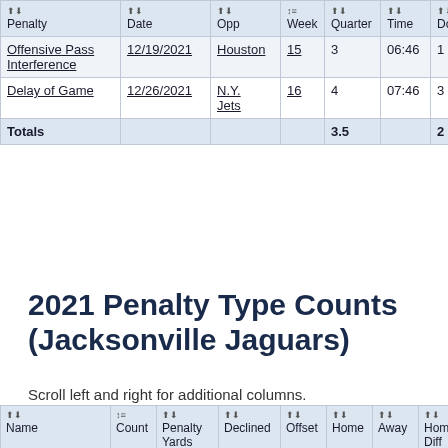| Penalty | Date | Opp | Week | Quarter | Time | Down | Dis |
| --- | --- | --- | --- | --- | --- | --- | --- |
| Offensive Pass Interference | 12/19/2021 | Houston | 15 | 3 | 06:46 | 1 | 10 |
| Delay of Game | 12/26/2021 | N.Y. Jets | 16 | 4 | 07:46 | 3 | 5 |
| Totals |  |  |  | 3.5 |  | 2 | 7.5 |
2021 Penalty Type Counts (Jacksonville Jaguars)
Scroll left and right for additional columns.
| Name | Count | Penalty Yards | Declined | Offset | Home | Away | Home/Away Diff |
| --- | --- | --- | --- | --- | --- | --- | --- |